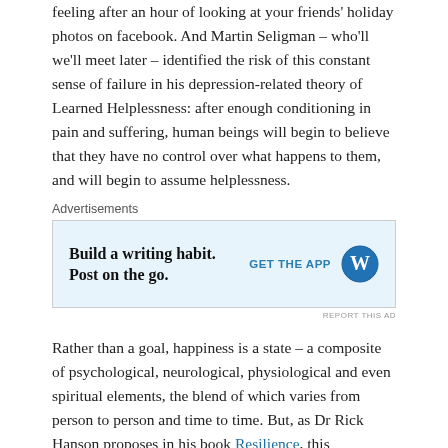feeling after an hour of looking at your friends' holiday photos on facebook. And Martin Seligman – who'll we'll meet later – identified the risk of this constant sense of failure in his depression-related theory of Learned Helplessness: after enough conditioning in pain and suffering, human beings will begin to believe that they have no control over what happens to them, and will begin to assume helplessness.
Advertisements
[Figure (other): WordPress advertisement: 'Build a writing habit. Post on the go.' with GET THE APP button and WordPress logo.]
Rather than a goal, happiness is a state – a composite of psychological, neurological, physiological and even spiritual elements, the blend of which varies from person to person and time to time. But, as Dr Rick Hanson proposes in his book Resilience, this changeable state can be made more of a habit by utilizing the brain's dependent neuroplasticity. Proactively engaging in positive behaviour supports the